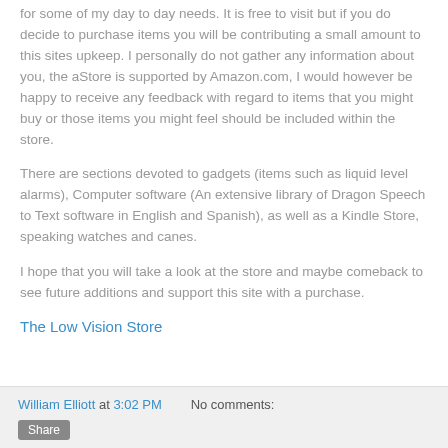for some of my day to day needs. It is free to visit but if you do decide to purchase items you will be contributing a small amount to this sites upkeep. I personally do not gather any information about you, the aStore is supported by Amazon.com, I would however be happy to receive any feedback with regard to items that you might buy or those items you might feel should be included within the store.
There are sections devoted to gadgets (items such as liquid level alarms), Computer software (An extensive library of Dragon Speech to Text software in English and Spanish), as well as a Kindle Store,  speaking watches and canes.
I hope that you will take a look at the store and maybe comeback to see future additions and support this site with a purchase.
The Low Vision Store
William Elliott at 3:02 PM   No comments: